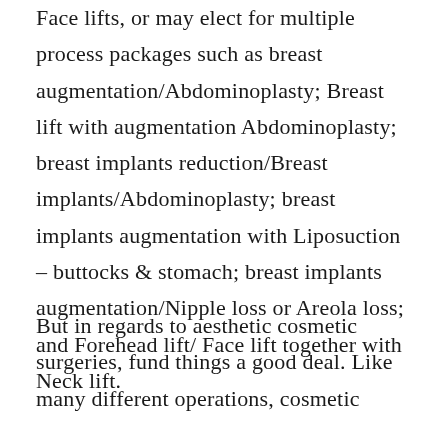Face lifts, or may elect for multiple process packages such as breast augmentation/Abdominoplasty; Breast lift with augmentation Abdominoplasty; breast implants reduction/Breast implants/Abdominoplasty; breast implants augmentation with Liposuction – buttocks & stomach; breast implants augmentation/Nipple loss or Areola loss; and Forehead lift/ Face lift together with Neck lift.
But in regards to aesthetic cosmetic surgeries, fund things a good deal. Like many different operations, cosmetic